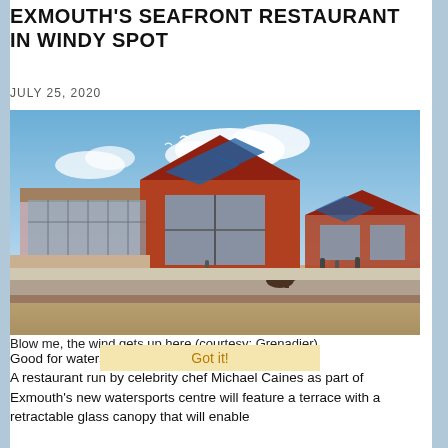EXMOUTH'S SEAFRONT RESTAURANT IN WINDY SPOT
JULY 25, 2020
[Figure (photo): Architectural rendering of Exmouth seafront watersports centre with restaurant, showing a modern building with red timber cladding, large glass windows, solar panels on roof, and people walking along the seafront promenade under a blue sky.]
Blow me, the wind gets up here (courtesy: Grenadier)
Good for watersports. Bad for dinner so....
Got it!
A restaurant run by celebrity chef Michael Caines as part of Exmouth's new watersports centre will feature a terrace with a retractable glass canopy that will enable